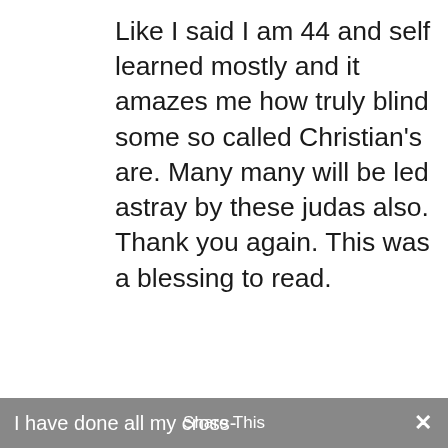Like I said I am 44 and self learned mostly and it amazes me how truly blind some so called Christian's are. Many many will be led astray by these judas also. Thank you again. This was a blessing to read.
Reply
Karl K. Wagner on October 14, 2019 at 5:45 am
I have done all my cross-
Share This